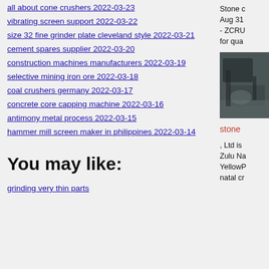all about cone crushers  2022-03-23
vibrating screen support  2022-03-22
size 32 fine grinder plate cleveland style  2022-03-21
cement spares supplier  2022-03-20
construction machines manufacturers  2022-03-19
selective mining iron ore  2022-03-18
coal crushers germany  2022-03-17
concrete core capping machine  2022-03-16
antimony metal process  2022-03-15
hammer mill screen maker in philippines  2022-03-14
You may like:
grinding very thin parts
Stone c Aug31 - ZCRU for qua
[Figure (photo): Industrial machinery photo, dark tones]
stone
, Ltd is Zulu Na YellowP natal cr